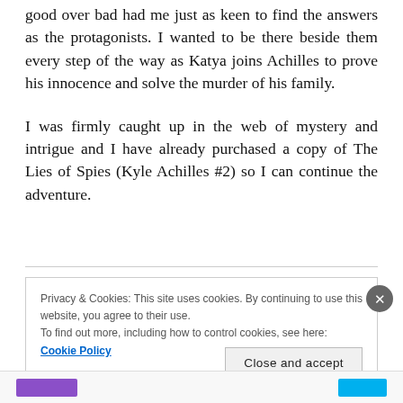good over bad had me just as keen to find the answers as the protagonists. I wanted to be there beside them every step of the way as Katya joins Achilles to prove his innocence and solve the murder of his family.
I was firmly caught up in the web of mystery and intrigue and I have already purchased a copy of The Lies of Spies (Kyle Achilles #2) so I can continue the adventure.
Privacy & Cookies: This site uses cookies. By continuing to use this website, you agree to their use.
To find out more, including how to control cookies, see here: Cookie Policy
Close and accept